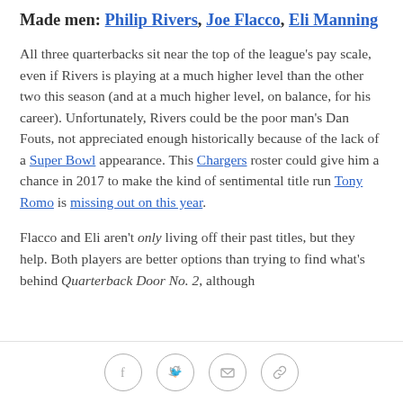Made men: Philip Rivers, Joe Flacco, Eli Manning
All three quarterbacks sit near the top of the league's pay scale, even if Rivers is playing at a much higher level than the other two this season (and at a much higher level, on balance, for his career). Unfortunately, Rivers could be the poor man's Dan Fouts, not appreciated enough historically because of the lack of a Super Bowl appearance. This Chargers roster could give him a chance in 2017 to make the kind of sentimental title run Tony Romo is missing out on this year.
Flacco and Eli aren't only living off their past titles, but they help. Both players are better options than trying to find what's behind Quarterback Door No. 2, although
[social share icons: Facebook, Twitter, Email, Link]